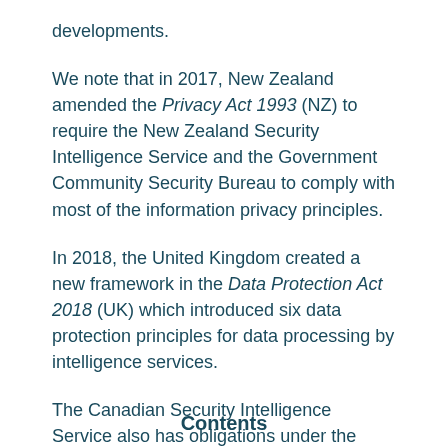developments.
We note that in 2017, New Zealand amended the Privacy Act 1993 (NZ) to require the New Zealand Security Intelligence Service and the Government Community Security Bureau to comply with most of the information privacy principles.
In 2018, the United Kingdom created a new framework in the Data Protection Act 2018 (UK) which introduced six data protection principles for data processing by intelligence services.
The Canadian Security Intelligence Service also has obligations under the Privacy Act 1985 (Canada).
This reform presents a timely opportunity to consider introducing consistent privacy safeguards for
Contents